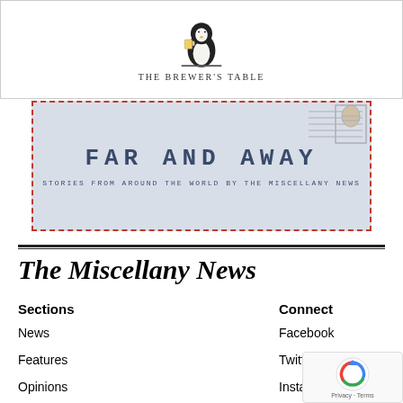[Figure (logo): The Brewer's Table logo with penguin holding a beer mug above a table]
[Figure (illustration): Far and Away banner - light blue/grey background with red dashed border. Large text reads FAR AND AWAY with subtitle STORIES FROM AROUND THE WORLD BY THE MISCELLANY NEWS. Stamp imagery in top right corner.]
The Miscellany News
Sections
Connect
News
Features
Opinions
Humor & Satire
Arts
Campus Canvas
Sports
Facebook
Twitter
Instagram
LinkedIn
YouTube